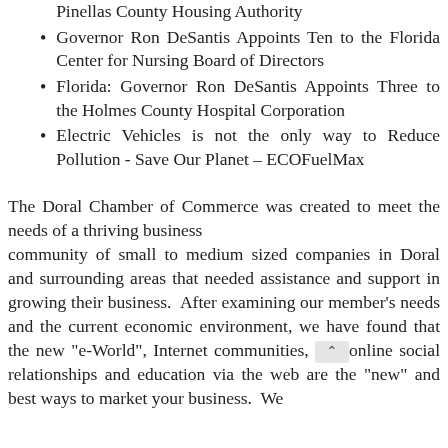Florida: Governor Ron DeSantis Appoints Four to the Pinellas County Housing Authority
Governor Ron DeSantis Appoints Ten to the Florida Center for Nursing Board of Directors
Florida: Governor Ron DeSantis Appoints Three to the Holmes County Hospital Corporation
Electric Vehicles is not the only way to Reduce Pollution - Save Our Planet – ECOFuelMax
The Doral Chamber of Commerce was created to meet the needs of a thriving business community of small to medium sized companies in Doral and surrounding areas that needed assistance and support in growing their business. After examining our member's needs and the current economic environment, we have found that the new "e-World", Internet communities, online social relationships and education via the web are the "new" and best ways to market your business. We